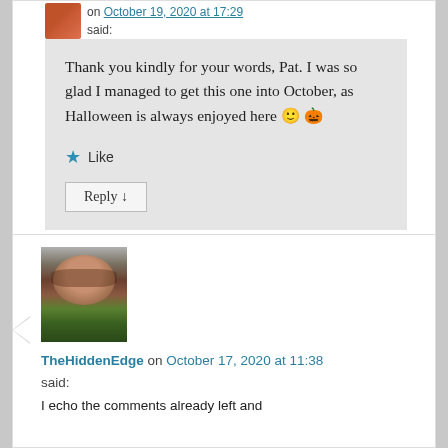on October 19, 2020 at 17:29 said:
Thank you kindly for your words, Pat. I was so glad I managed to get this one into October, as Halloween is always enjoyed here 🙂 🎃
★ Like
Reply ↓
TheHiddenEdge on October 17, 2020 at 11:38 said:
I echo the comments already left and particularly enjoyed the evocative Post Script...